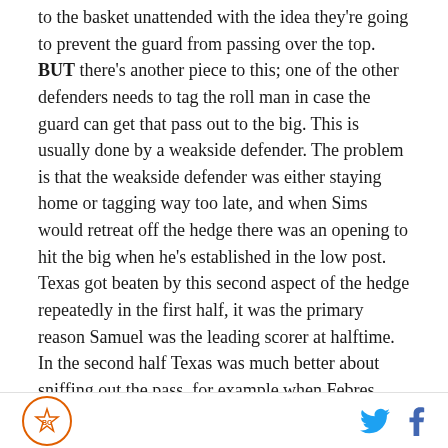to the basket unattended with the idea they're going to prevent the guard from passing over the top. BUT there's another piece to this; one of the other defenders needs to tag the roll man in case the guard can get that pass out to the big. This is usually done by a weakside defender. The problem is that the weakside defender was either staying home or tagging way too late, and when Sims would retreat off the hedge there was an opening to hit the big when he's established in the low post. Texas got beaten by this second aspect of the hedge repeatedly in the first half, it was the primary reason Samuel was the leading scorer at halftime. In the second half Texas was much better about sniffing out the pass, for example when Febres
BC logo | Twitter | Facebook